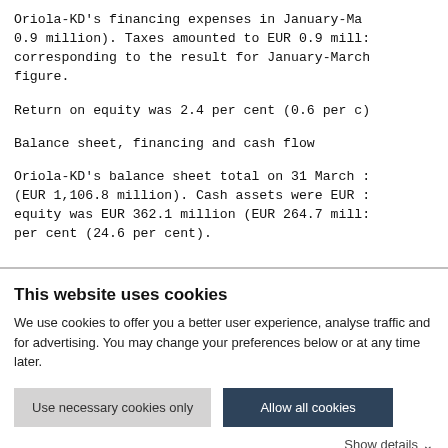Oriola-KD's financing expenses in January-Ma 0.9 million). Taxes amounted to EUR 0.9 mill: corresponding to the result for January-March figure.
Return on equity was 2.4 per cent (0.6 per c)
Balance sheet, financing and cash flow
Oriola-KD's balance sheet total on 31 March : (EUR 1,106.8 million). Cash assets were EUR : equity was EUR 362.1 million (EUR 264.7 mill: per cent (24.6 per cent).
This website uses cookies
We use cookies to offer you a better user experience, analyse traffic and for advertising. You may change your preferences below or at any time later.
Use necessary cookies only | Allow all cookies
Show details